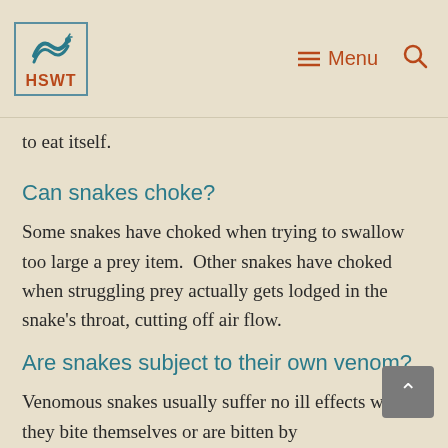HSWT | Menu | Search
to eat itself.
Can snakes choke?
Some snakes have choked when trying to swallow too large a prey item.  Other snakes have choked when struggling prey actually gets lodged in the snake's throat, cutting off air flow.
Are snakes subject to their own venom?
Venomous snakes usually suffer no ill effects when they bite themselves or are bitten by